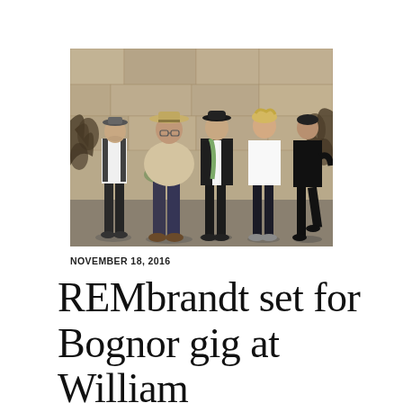[Figure (photo): Five men standing in front of a stone wall with ornamental relief carvings. From left to right: man in black vest over white shirt with grey fedora; heavy-set man in beige shirt and straw hat; man in dark suit with green scarf and black bowler hat; tall man in white shirt with tousled blond hair; man in all black outfit leaning against wall.]
NOVEMBER 18, 2016
REMbrandt set for Bognor gig at William